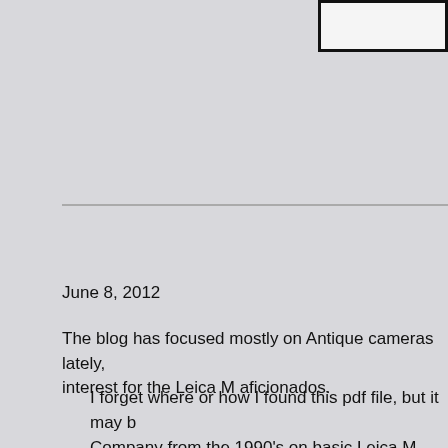[Figure (other): White bordered box in top-right corner, partially visible]
June 8, 2012
The blog has focused mostly on Antique cameras lately, interest for the Leica M aficionados.
I forget where or how I found this pdf file, but it may b Company from the 1990's on basic Leica M camera m equipment, but for those of you who cherish DYI, here camera.